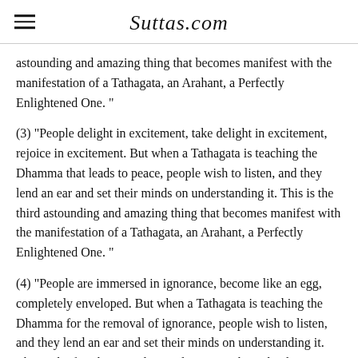Suttas.com
astounding and amazing thing that becomes manifest with the manifestation of a Tathagata, an Arahant, a Perfectly Enlightened One. "
(3) "People delight in excitement, take delight in excitement, rejoice in excitement. But when a Tathagata is teaching the Dhamma that leads to peace, people wish to listen, and they lend an ear and set their minds on understanding it. This is the third astounding and amazing thing that becomes manifest with the manifestation of a Tathagata, an Arahant, a Perfectly Enlightened One. "
(4) "People are immersed in ignorance, become like an egg, completely enveloped. But when a Tathagata is teaching the Dhamma for the removal of ignorance, people wish to listen, and they lend an ear and set their minds on understanding it. This is the fourth astounding and amazing thing that becomes manifest